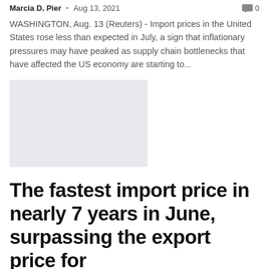Marcia D. Pier · Aug 13, 2021  🗨 0
WASHINGTON, Aug. 13 (Reuters) - Import prices in the United States rose less than expected in July, a sign that inflationary pressures may have peaked as supply chain bottlenecks that have affected the US economy are starting to...
[Figure (photo): Gray placeholder image for article photo]
The fastest import price in nearly 7 years in June, surpassing the export price for